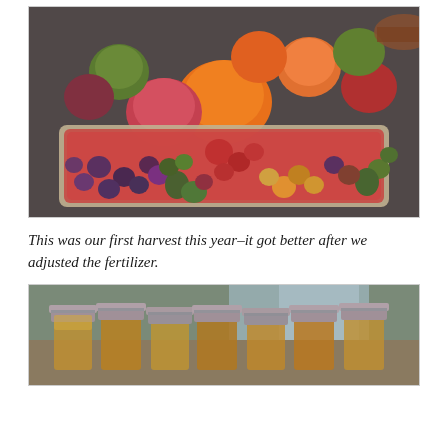[Figure (photo): A rectangular serving tray filled with a large variety of heirloom tomatoes in many colors and sizes — orange, red, green, purple, yellow — arranged on a dark countertop with more large heirloom tomatoes in the background.]
This was our first harvest this year–it got better after we adjusted the fertilizer.
[Figure (photo): A row of glass mason jars with metal lids filled with preserved tomato sauce, photographed indoors on a counter with a window in the background.]